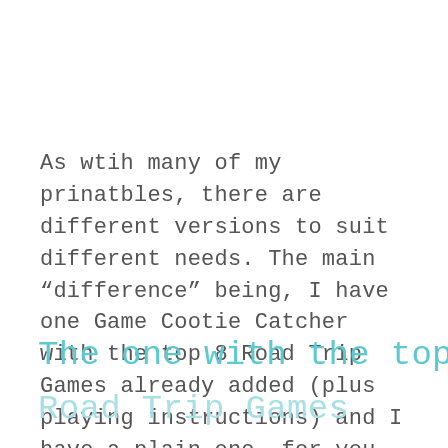As wtih many of my prinatbles, there are different versions to suit different needs. The main “difference” being, I have one Game Cootie Catcher with the top 8 Road Trip Games already added (plus playing instructions) and I have a plain one, for you to add your own activities!
The one with the top 8
Road Trip Games